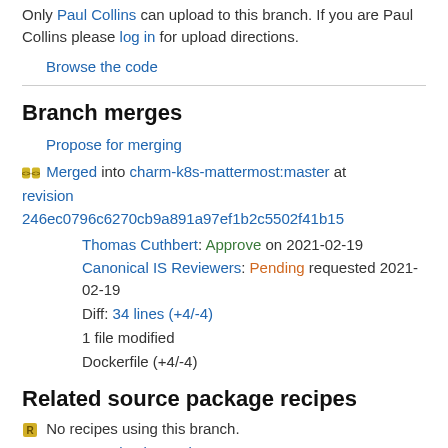Only Paul Collins can upload to this branch. If you are Paul Collins please log in for upload directions.
Browse the code
Branch merges
Propose for merging
Merged into charm-k8s-mattermost:master at revision 246ec0796c6270cb9a891a97ef1b2c5502f41b15
Thomas Cuthbert: Approve on 2021-02-19
Canonical IS Reviewers: Pending requested 2021-02-19
Diff: 34 lines (+4/-4)
1 file modified
Dockerfile (+4/-4)
Related source package recipes
No recipes using this branch.
Create packaging recipe